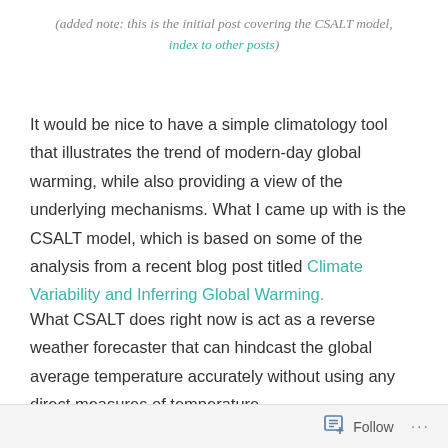(added note: this is the initial post covering the CSALT model, index to other posts)
It would be nice to have a simple climatology tool that illustrates the trend of modern-day global warming, while also providing a view of the underlying mechanisms. What I came up with is the CSALT model, which is based on some of the analysis from a recent blog post titled Climate Variability and Inferring Global Warming.
What CSALT does right now is act as a reverse weather forecaster that can hindcast the global average temperature accurately without using any direct measures of temperature.
Follow ···